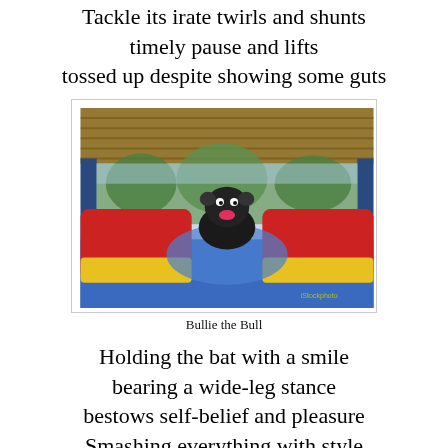Tackle its irate twirls and shunts
timely pause and lifts
tossed up despite showing some guts
[Figure (photo): A bull (Bullie the Bull) sitting in a colorful inflatable mechanical bull arena with red, yellow, and blue padding, under a thatched roof structure with trees visible in the background.]
Bullie the Bull
Holding the bat with a smile
bearing a wide-leg stance
bestows self-belief and pleasure
Smashing everything with style